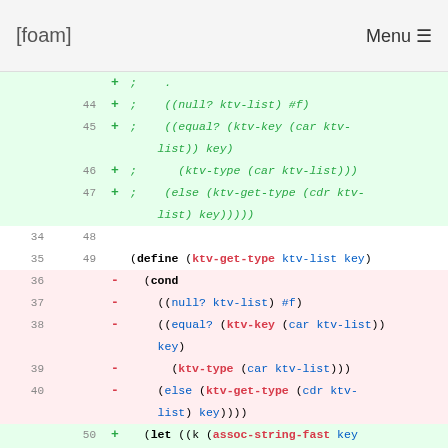[foam] Menu
[Figure (screenshot): Code diff viewer showing changes to a Scheme/Lisp function ktv-get-type, with old lines (red background, removed) and new lines (green background, added), including line numbers on left (old) and right (new) columns.]